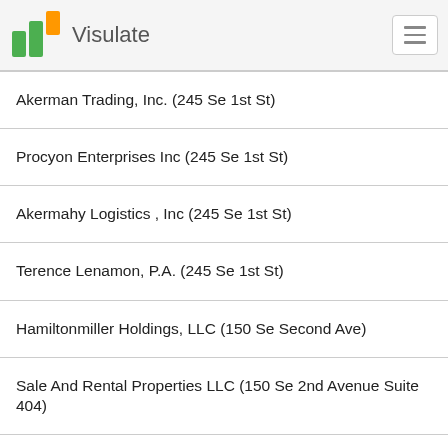Visulate
Akerman Trading, Inc. (245 Se 1st St)
Procyon Enterprises Inc (245 Se 1st St)
Akermahy Logistics , Inc (245 Se 1st St)
Terence Lenamon, P.A. (245 Se 1st St)
Hamiltonmiller Holdings, LLC (150 Se Second Ave)
Sale And Rental Properties LLC (150 Se 2nd Avenue Suite 404)
Montana Bell Inc (150 Se 2nd Avenue Suite 404)
Miami Coalition Of Christians And Jews, Inc. (150 Se 2nd Ave)
Dgd Group, Corp. (150 Se 2 Ave)
Order Of Saint Benedict Of The United States Of America Inc, (150 Se 2nd Ave)